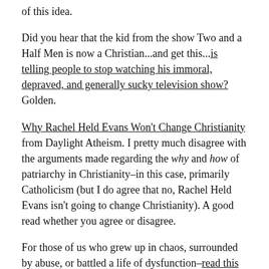of this idea.
Did you hear that the kid from the show Two and a Half Men is now a Christian...and get this...is telling people to stop watching his immoral, depraved, and generally sucky television show? Golden.
Why Rachel Held Evans Won't Change Christianity from Daylight Atheism. I pretty much disagree with the arguments made regarding the why and how of patriarchy in Christianity–in this case, primarily Catholicism (but I do agree that no, Rachel Held Evans isn't going to change Christianity). A good read whether you agree or disagree.
For those of us who grew up in chaos, surrounded by abuse, or battled a life of dysfunction–read this and thank Elizabeth Esther for offering such grace and freedom.